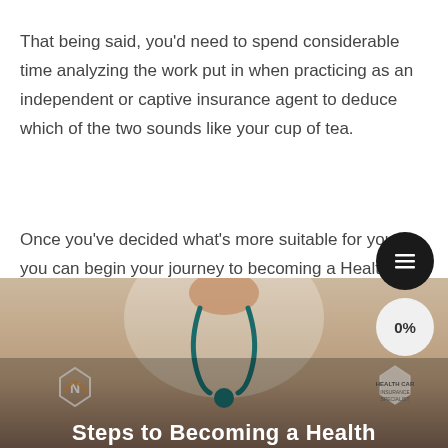That being said, you'd need to spend considerable time analyzing the work put in when practicing as an independent or captive insurance agent to deduce which of the two sounds like your cup of tea.
Once you've decided what's more suitable for you, you can begin your journey to becoming a Health Insurance Agent.
[Figure (photo): Photo of a person in a white lab coat with a stethoscope, with logos overlaid and title text 'Steps to Becoming a Health' at the bottom]